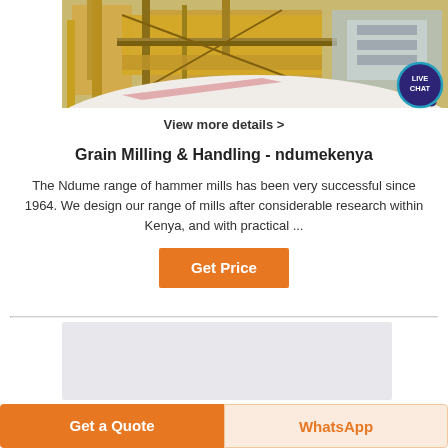[Figure (photo): Industrial grain milling and handling machinery — yellow metal structures, conveyor equipment on a construction site or factory floor]
[Figure (illustration): Live Chat bubble icon — teal/dark blue speech bubble with text LIVE CHAT in white]
View more details >
Grain Milling & Handling - ndumekenya
The Ndume range of hammer mills has been very successful since 1964. We design our range of mills after considerable research within Kenya, and with practical ...
[Figure (other): Get Price orange button]
[Figure (photo): Second product image placeholder — light grey background]
Get a Quote
WhatsApp